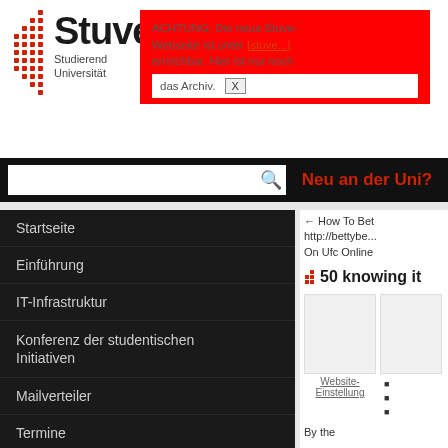Stuve - Studierendenvertretung Universität
ACHTUNG: Die neue Stuve-Webseite ist unter [link] erreichbar. Hier ist nur noch das Archiv. X
Neu an der Uni?
Startseite
Einführung
IT-Infrastruktur
Konferenz der studentischen Initiativen
Mailverteiler
Termine
Studierendenvertretung
Referate & Arbeitskreise
← How To Bet http://bettybe... On Ufc Online
50 knowing it
Website-Einstellung
By the